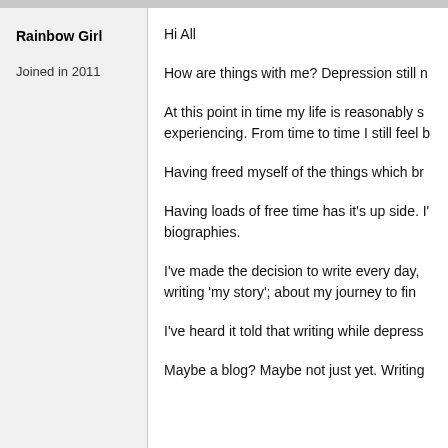Rainbow Girl
Joined in 2011
Hi All
How are things with me? Depression still n
At this point in time my life is reasonably s experiencing. From time to time I still feel b
Having freed myself of the things which br
Having loads of free time has it's up side. I' biographies.
I've made the decision to write every day, writing 'my story'; about my journey to fin
I've heard it told that writing while depress
Maybe a blog? Maybe not just yet. Writing